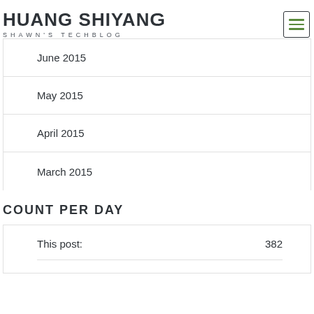HUANG SHIYANG
SHAWN'S TECHBLOG
June 2015
May 2015
April 2015
March 2015
COUNT PER DAY
This post: 382